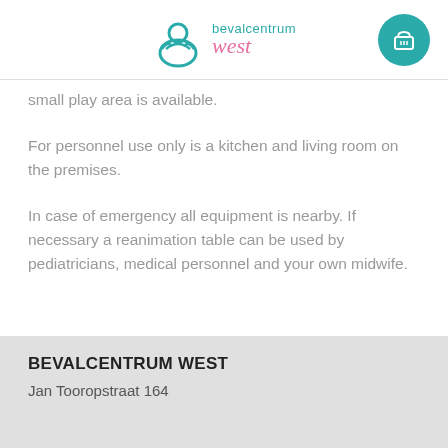bevalcentrum west
small play area is available.
For personnel use only is a kitchen and living room on the premises.
In case of emergency all equipment is nearby. If necessary a reanimation table can be used by pediatricians, medical personnel and your own midwife.
BEVALCENTRUM WEST
Jan Tooropstraat 164